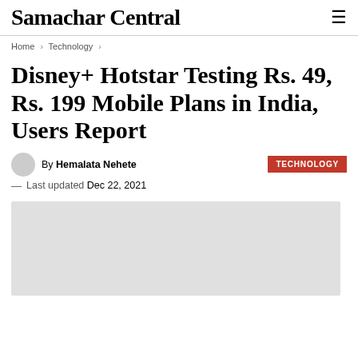Samachar Central
Home > Technology >
Disney+ Hotstar Testing Rs. 49, Rs. 199 Mobile Plans in India, Users Report
By Hemalata Nehete
TECHNOLOGY
Last updated Dec 22, 2021
[Figure (photo): Grey placeholder image for article]